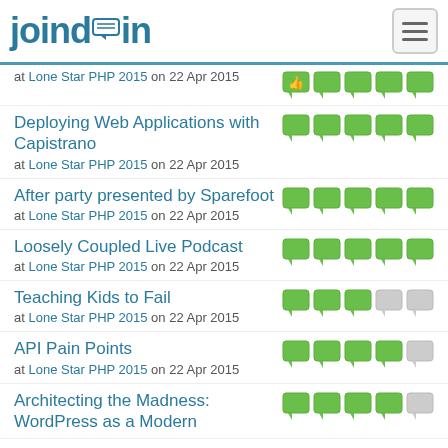joind.in
at Lone Star PHP 2015 on 22 Apr 2015
Deploying Web Applications with Capistrano
at Lone Star PHP 2015 on 22 Apr 2015
After party presented by Sparefoot
at Lone Star PHP 2015 on 22 Apr 2015
Loosely Coupled Live Podcast
at Lone Star PHP 2015 on 22 Apr 2015
Teaching Kids to Fail
at Lone Star PHP 2015 on 22 Apr 2015
API Pain Points
at Lone Star PHP 2015 on 22 Apr 2015
Architecting the Madness: WordPress as a Modern